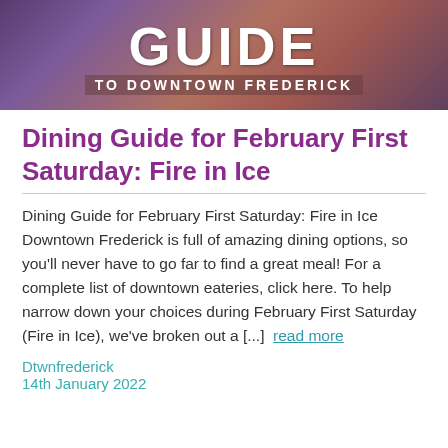[Figure (photo): Banner image showing 'GUIDE TO DOWNTOWN FREDERICK' text overlaid on a food/dining background photo with purple and warm tones]
Dining Guide for February First Saturday: Fire in Ice
Dining Guide for February First Saturday: Fire in Ice Downtown Frederick is full of amazing dining options, so you'll never have to go far to find a great meal! For a complete list of downtown eateries, click here. To help narrow down your choices during February First Saturday (Fire in Ice), we've broken out a [...] read more
Dtwnfrederick
14th January 2022